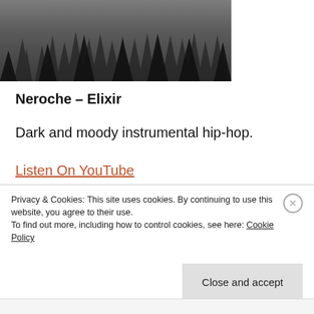[Figure (photo): Black and white/dark moody photo of a foggy forest with tall evergreen pine trees.]
Neroche – Elixir
Dark and moody instrumental hip-hop.
Listen On YouTube
Buy
Privacy & Cookies: This site uses cookies. By continuing to use this website, you agree to their use. To find out more, including how to control cookies, see here: Cookie Policy
Close and accept